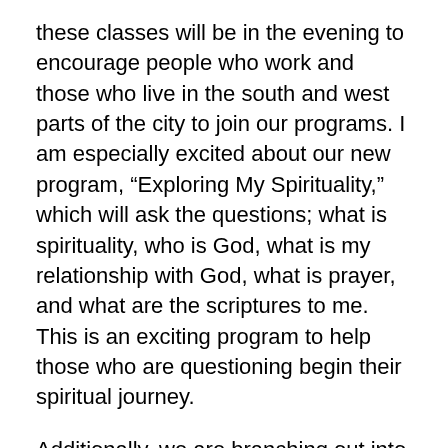these classes will be in the evening to encourage people who work and those who live in the south and west parts of the city to join our programs.  I am especially excited about our new program, “Exploring My Spirituality,” which will ask the questions; what is spirituality, who is God, what is my relationship with God, what is prayer, and what are the scriptures to me.   This is an exciting program to help those who are questioning begin their spiritual journey.
Additionally, we are branching out into culture enrichment programs.  On August 17, Linda McCray, MFA, will offer Walking Through Fire: Art As Prayer Retreat.  This is a great program that encourages you to replenish your spirit while praying with art.  On October 20 and again on March 30, Trio Paradis will present their concert, “Unsung Voices, Women in Music.”  These three women bring a new focus to music created by exceptional women composers.  This